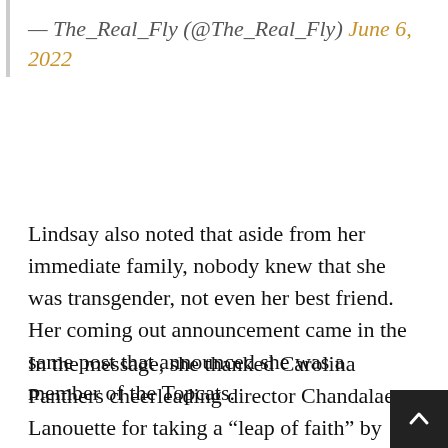— The_Real_Fly (@The_Real_Fly) June 6, 2022
Lindsay also noted that aside from her immediate family, nobody knew that she was transgender, not even her best friend. Her coming out announcement came in the same post that announced she was a member of the Topcats.
In the message, she thanked Carolina Panthers cheerleading director Chandalae Lanouette for taking a “leap of faith” by hiring her.